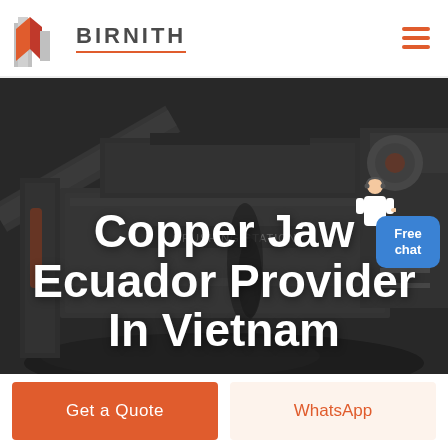BIRNITH
[Figure (photo): Industrial crushing station machinery with conveyor belts and large equipment, dark industrial setting with coal/ore material visible]
Copper Jaw Ecuador Provider In Vietnam
Get a Quote
WhatsApp
Free chat